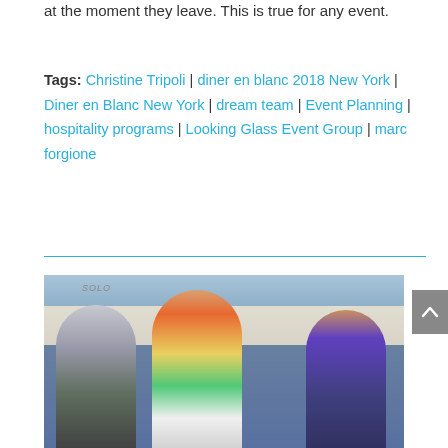at the moment they leave. This is true for any event.
Tags: Christine Tripoli | diner en blanc 2018 New York | Diner en Blanc New York | dream team | Event Planning | hospitality programs | Looking Glass Event Group | marc forgione
[Figure (photo): Three people in an office/backstage setting. A woman in the center with curly hair wearing a colorful jacket gestures with one hand raised, holding a tablet. A man on the left wears a grey top. A man on the right wears glasses and a plaid shirt. A whiteboard with 'SOLO' written on it is visible in the background.]